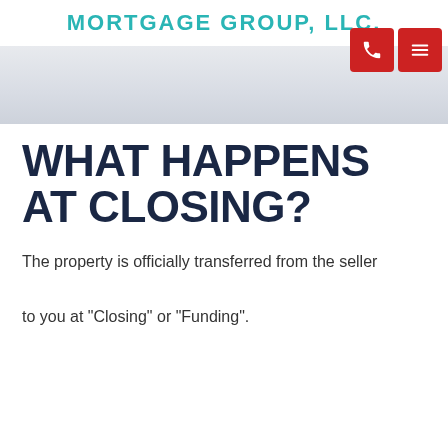MORTGAGE GROUP, LLC.
[Figure (other): Two red square navigation buttons: a phone icon button and a hamburger menu icon button]
[Figure (other): Hero banner area with light grey gradient background]
WHAT HAPPENS AT CLOSING?
The property is officially transferred from the seller to you at "Closing" or "Funding".